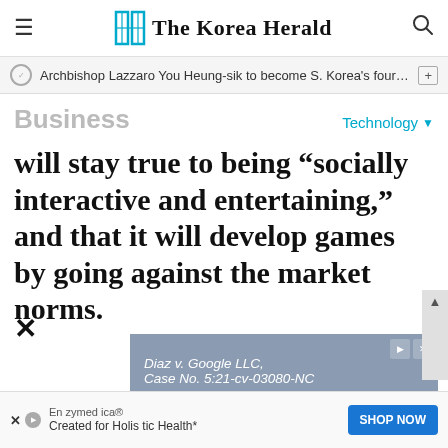The Korea Herald
Archbishop Lazzaro You Heung-sik to become S. Korea's fourth c…
Business
Technology
will stay true to being “socially interactive and entertaining,” and that it will develop games by going against the market norms.
[Figure (other): Advertisement banner: Diaz v. Google LLC, Case No. 5:21-cv-03080-NC. If you downloaded or activated a COVID-19 contact tracing app for use with the Exposure Notification System, with icons of mobile devices and connectivity symbols.]
[Figure (other): Advertisement banner: Enzymedica. Created for Holistic Health*. SHOP NOW button.]